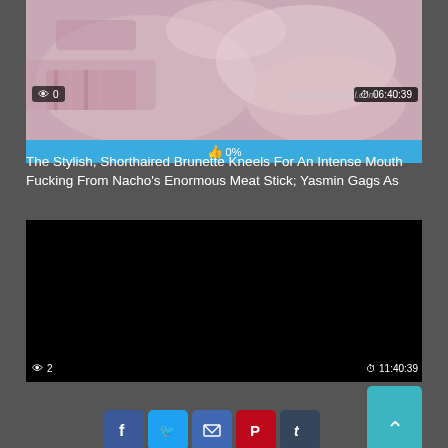[Figure (screenshot): Video thumbnail showing two people on a bed with pink/striped bedding. Duration badge shows 06:40:39, views badge shows 0. Rating bar shows 0%. Website watermark: www.nachovidal.com]
The Stylish, Shorthaired Brunette Kneels For An Intense Mouth Fucking From Nacho's Enormous Meat Stick; Yasmin Gags As
[Figure (screenshot): Black video thumbnail. Views badge shows 2, duration badge shows 11:40:39. Social share buttons: Facebook, Twitter, Email, Pinterest, Tumblr, Reddit, Blogger, WordPress, VK, More. Scroll-to-top button. Rating bar shows 0%.]